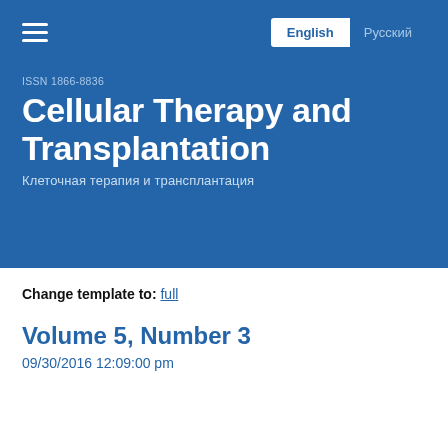English | Русский
ISSN 1866-8836
Cellular Therapy and Transplantation
Клеточная терапия и трансплантация
Change template to: full
Volume 5, Number 3
09/30/2016 12:09:00 pm